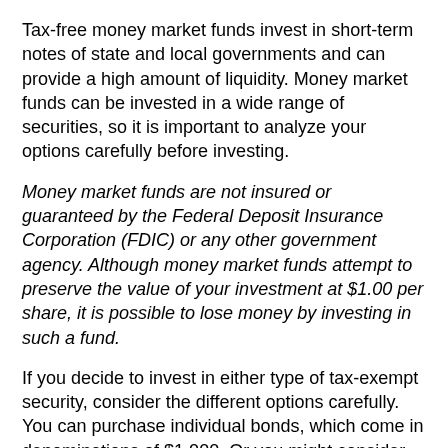Tax-free money market funds invest in short-term notes of state and local governments and can provide a high amount of liquidity. Money market funds can be invested in a wide range of securities, so it is important to analyze your options carefully before investing.
Money market funds are not insured or guaranteed by the Federal Deposit Insurance Corporation (FDIC) or any other government agency. Although money market funds attempt to preserve the value of your investment at $1.00 per share, it is possible to lose money by investing in such a fund.
If you decide to invest in either type of tax-exempt security, consider the different options carefully. You can purchase individual bonds, which come in denominations of $1,000. Or you might consider investing in a municipal bond mutual fund, a portfolio of bonds in which you can invest for as little as $500. Municipal bonds can also be purchased through a unit investment trust, a closed-end portfolio of bonds in which you can invest for as little as $1,000.